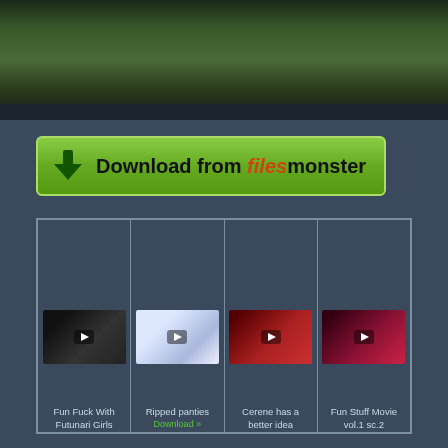[Figure (photo): Top banner image showing outdoor scene, partially cropped]
[Figure (illustration): Green download button with arrow icon reading 'Download from filesmonster']
[Figure (screenshot): Grid of four video thumbnails with titles: Fun Fuck With Futunari Girls, Ripped panties, Cerene has a better idea, Fun Stuff Movie vol.1 sc.2]